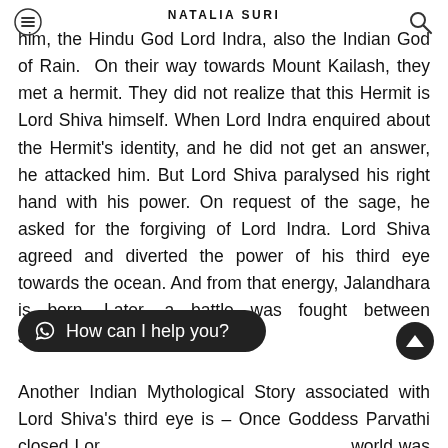NATALIA SURI
him, the Hindu God Lord Indra, also the Indian God of Rain. On their way towards Mount Kailash, they met a hermit. They did not realize that this Hermit is Lord Shiva himself. When Lord Indra enquired about the Hermit's identity, and he did not get an answer, he attacked him. But Lord Shiva paralysed his right hand with his power. On request of the sage, he asked for the forgiving of Lord Indra. Lord Shiva agreed and diverted the power of his third eye towards the ocean. And from that energy, Jalandhara is born. Later, a battle was fought between Jalandhara and Lord Shiva.

Another Indian Mythological Story associated with Lord Shiva's third eye is – Once Goddess Parvathi closed Lord world was shrouded in darkness. Then Lord Shiva opened his third eye, and fire